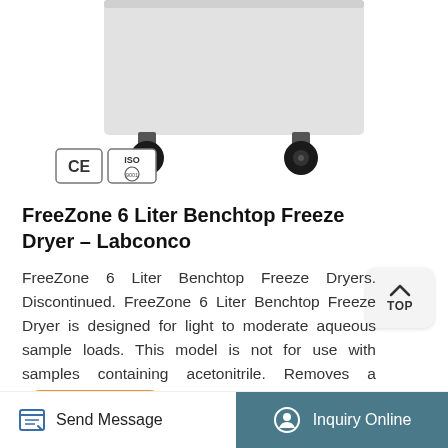[Figure (photo): FreeZone 6 Liter Benchtop Freeze Dryer machine on wheels, white/gray body with black casters, showing CE and ISO certification logos]
FreeZone 6 Liter Benchtop Freeze Dryer - Labconco
FreeZone 6 Liter Benchtop Freeze Dryers. Discontinued. FreeZone 6 Liter Benchtop Freeze Dryer is designed for light to moderate aqueous sample loads. This model is not for use with samples containing acetonitrile. Removes a maximum of 4 liters of water in 24 hours.*
More Details
Send Message
Inquiry Online